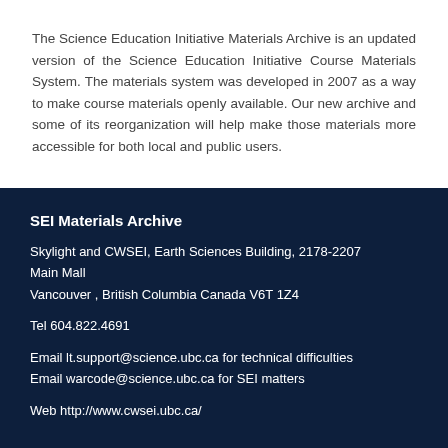The Science Education Initiative Materials Archive is an updated version of the Science Education Initiative Course Materials System. The materials system was developed in 2007 as a way to make course materials openly available. Our new archive and some of its reorganization will help make those materials more accessible for both local and public users.
SEI Materials Archive
Skylight and CWSEI, Earth Sciences Building, 2178-2207 Main Mall
Vancouver , British Columbia Canada V6T 1Z4
Tel 604.822.4691
Email lt.support@science.ubc.ca for technical difficulties
Email warcode@science.ubc.ca for SEI matters
Web http://www.cwsei.ubc.ca/